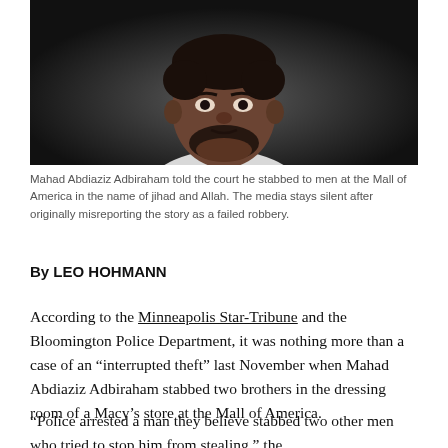[Figure (photo): Close-up photograph of Mahad Abdiaziz Adbiraham, a young man with dark skin, black curly hair, and a short beard, wearing a white shirt, against a dark background.]
Mahad Abdiaziz Adbiraham told the court he stabbed to men at the Mall of America in the name of jihad and Allah. The media stays silent after originally misreporting the story as a failed robbery.
By LEO HOHMANN
According to the Minneapolis Star-Tribune and the Bloomington Police Department, it was nothing more than a case of an “interrupted theft” last November when Mahad Abdiaziz Adbiraham stabbed two brothers in the dressing room of a Macy’s store at the Mall of America.
“Police arrested a man they believe stabbed two other men who tried to stop him from stealing,” the